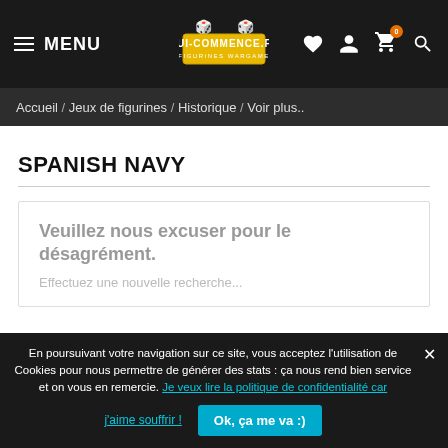MENU | QUI-COMMENCE.FR FIGURINES WARGAME | [heart] [user] [cart 0] [search]
Accueil / Jeux de figurines / Historique / Voir plus..
SPANISH NAVY
Veuillez nous excuser pour le désagrément.
Effectuez une nouvelle recherche...
En poursuivant votre navigation sur ce site, vous acceptez l'utilisation de Cookies pour nous permettre de générer des stats : ça nous rend bien service et on vous en remercie. Je veux lire la politique de confidentialité car j'aime souffrir ! Ok, ça me va :)